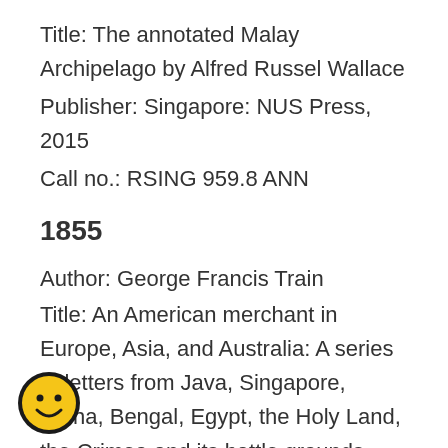Title: The annotated Malay Archipelago by Alfred Russel Wallace
Publisher: Singapore: NUS Press, 2015
Call no.: RSING 959.8 ANN
1855
Author: George Francis Train
Title: An American merchant in Europe, Asia, and Australia: A series of letters from Java, Singapore, China, Bengal, Egypt, the Holy Land, the Crimea and its battle graunds, England, Melbourne, Sydney, etc., etc